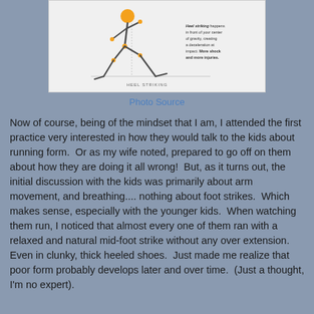[Figure (illustration): Stick figure illustration of a runner demonstrating heel striking, with an annotation explaining that heel striking happens in front of your center of gravity, creating a deceleration at impact. More shock and more injuries. Label reads HEEL STRIKING at the bottom.]
Photo Source
Now of course, being of the mindset that I am, I attended the first practice very interested in how they would talk to the kids about running form.  Or as my wife noted, prepared to go off on them about how they are doing it all wrong!  But, as it turns out, the initial discussion with the kids was primarily about arm movement, and breathing.... nothing about foot strikes.  Which makes sense, especially with the younger kids.  When watching them run, I noticed that almost every one of them ran with a relaxed and natural mid-foot strike without any over extension.  Even in clunky, thick heeled shoes.  Just made me realize that poor form probably develops later and over time.  (Just a thought, I'm no expert).